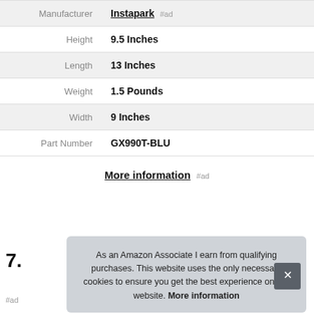|  |  |
| --- | --- |
| Manufacturer | Instapark #ad |
| Height | 9.5 Inches |
| Length | 13 Inches |
| Weight | 1.5 Pounds |
| Width | 9 Inches |
| Part Number | GX990T-BLU |
More information #ad
7.
As an Amazon Associate I earn from qualifying purchases. This website uses the only necessary cookies to ensure you get the best experience on our website. More information
#ad